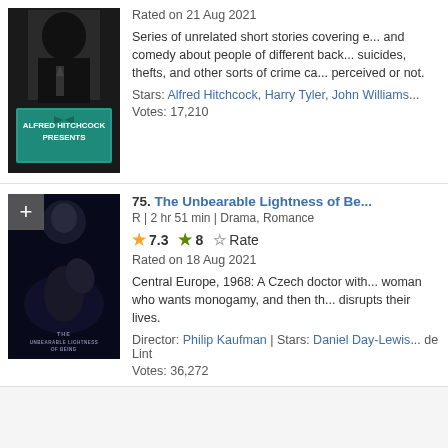[Figure (photo): Alfred Hitchcock Presents TV show poster - black and white image of Hitchcock with teal sign]
Rated on 21 Aug 2021
Series of unrelated short stories covering e... and comedy about people of different back... suicides, thefts, and other sorts of crime ca... perceived or not.
Stars: Alfred Hitchcock, Harry Tyler, John Williams...
Votes: 17,210
[Figure (photo): The Unbearable Lightness of Being movie poster - dark blue toned image of woman]
75. The Unbearable Lightness of Be...
R | 2 hr 51 min | Drama, Romance
7.3  8  Rate
Rated on 18 Aug 2021
Central Europe, 1968: A Czech doctor with... woman who wants monogamy, and then th... disrupts their lives.
Director: Philip Kaufman | Stars: Daniel Day-Lewis... de Lint
Votes: 36,272